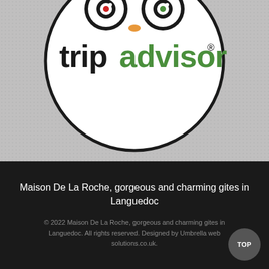[Figure (logo): TripAdvisor logo: owl icon above the text 'tripadvisor' with 'trip' in black and 'advisor' in green, inside a large circle, on a grey dotted background]
Maison De La Roche, gorgeous and charming gites in Languedoc
© 2022 Maison De La Roche, gorgeous and charming gites in Languedoc. All rights reserved. Designed by Umbrella web solutions.co.uk.